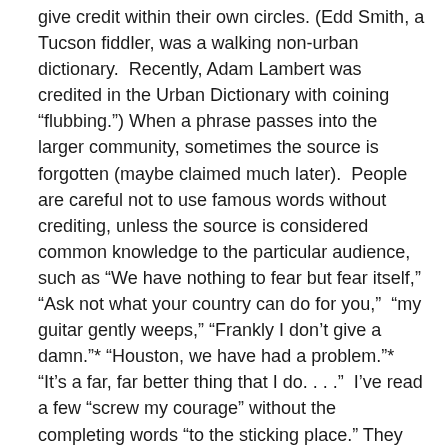give credit within their own circles. (Edd Smith, a Tucson fiddler, was a walking non-urban dictionary.  Recently, Adam Lambert was credited in the Urban Dictionary with coining “flubbing.”) When a phrase passes into the larger community, sometimes the source is forgotten (maybe claimed much later).  People are careful not to use famous words without crediting, unless the source is considered common knowledge to the particular audience, such as “We have nothing to fear but fear itself,” “Ask not what your country can do for you,”  “my guitar gently weeps,” “Frankly I don’t give a damn.”* “Houston, we have had a problem.”* “It’s a far, far better thing that I do. . . .”  I’ve read a few “screw my courage” without the completing words “to the sticking place.” They never seem to fit well in the new spot.
Among writers, painful memories are often shared about